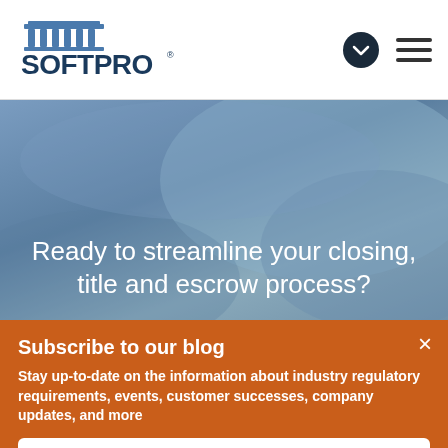[Figure (logo): SoftPro logo with building/columns icon above text SOFTPRO with registered trademark symbol]
[Figure (screenshot): Navigation icons: dark circle with down chevron and hamburger menu lines]
[Figure (photo): Blue-toned hero background image showing hands, overlaid with white text]
Ready to streamline your closing, title and escrow process?
Subscribe to our blog
Stay up-to-date on the information about industry regulatory requirements, events, customer successes, company updates, and more
SUBSCRIBE NOW